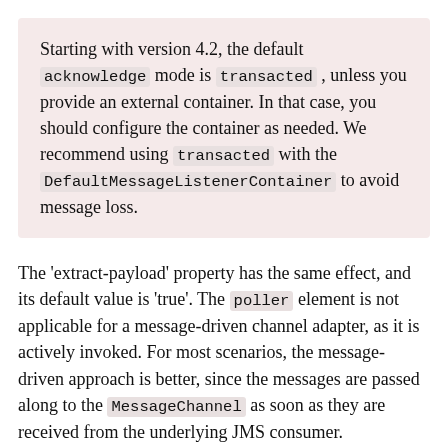Starting with version 4.2, the default acknowledge mode is transacted , unless you provide an external container. In that case, you should configure the container as needed. We recommend using transacted with the DefaultMessageListenerContainer to avoid message loss.
The 'extract-payload' property has the same effect, and its default value is 'true'. The poller element is not applicable for a message-driven channel adapter, as it is actively invoked. For most scenarios, the message-driven approach is better, since the messages are passed along to the MessageChannel as soon as they are received from the underlying JMS consumer.
Finally, the ...